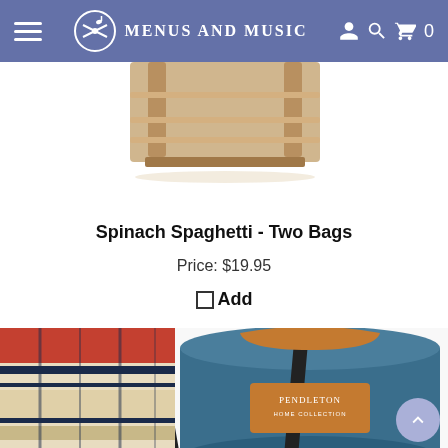Menus and Music
[Figure (photo): Partial view of a wooden product stand/rack on white background]
Spinach Spaghetti - Two Bags
Price: $19.95
☐Add
[Figure (photo): Pendleton rolled blanket in blue carrying case with leather handle and tartan plaid blanket visible]